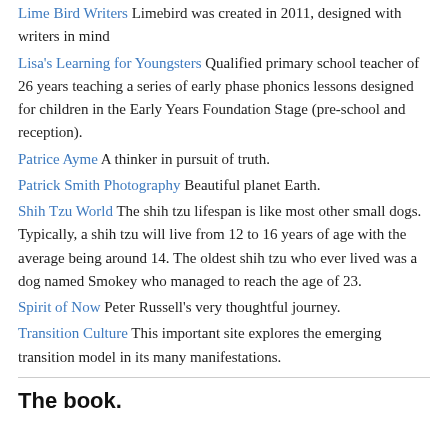Lime Bird Writers Limebird was created in 2011, designed with writers in mind
Lisa's Learning for Youngsters Qualified primary school teacher of 26 years teaching a series of early phase phonics lessons designed for children in the Early Years Foundation Stage (pre-school and reception).
Patrice Ayme A thinker in pursuit of truth.
Patrick Smith Photography Beautiful planet Earth.
Shih Tzu World The shih tzu lifespan is like most other small dogs. Typically, a shih tzu will live from 12 to 16 years of age with the average being around 14. The oldest shih tzu who ever lived was a dog named Smokey who managed to reach the age of 23.
Spirit of Now Peter Russell's very thoughtful journey.
Transition Culture This important site explores the emerging transition model in its many manifestations.
The book.
[Figure (photo): A book lying flat, shown from the side/top angle, with a light blue/grey cover and dark spine]